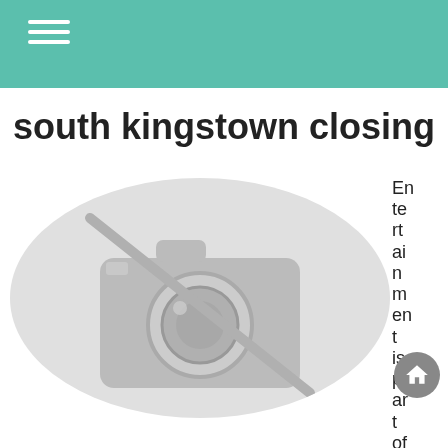south kingstown closing
[Figure (photo): Placeholder image with a no-photo icon (camera with a slash through it) inside a circular frame]
Entertainment is part of e.